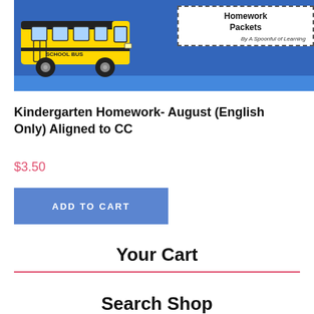[Figure (illustration): Product thumbnail showing a yellow school bus on a blue background with a white sign reading 'Homework Packets' and 'By A Spoonful of Learning']
Kindergarten Homework- August (English Only) Aligned to CC
$3.50
ADD TO CART
Your Cart
Search Shop